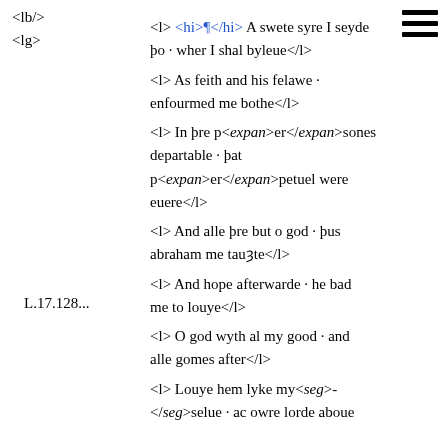<lb/>
<lg>
<l> <hi>¶</hi> A swete syre I seyde þo · wher I shal byleue</l>
<l> As feith and his felawe · enfourmed me bothe</l>
<l> In þre p<expan>er</expan>sones departable · þat p<expan>er</expan>petuel were euere</l>
L.17.128...
<l> And alle þre but o god · þus abraham me tauȝte</l>
<l> And hope afterwarde · he bad me to louye</l>
<l> O god wyth al my good · and alle gomes after</l>
<l> Louye hem lyke my<seg>- </seg><seg>selue · ac owre lorde aboue</l>